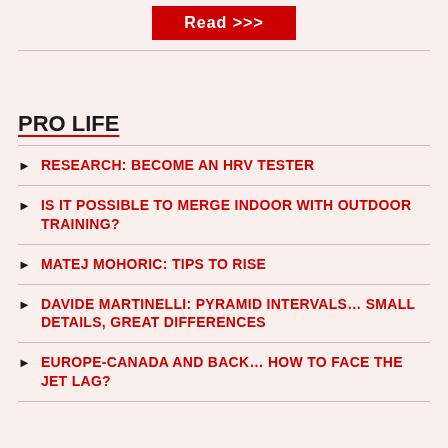[Figure (other): Red button with text 'Read >>>']
PRO LIFE
RESEARCH: BECOME AN HRV TESTER
IS IT POSSIBLE TO MERGE INDOOR WITH OUTDOOR TRAINING?
MATEJ MOHORIC: TIPS TO RISE
DAVIDE MARTINELLI: PYRAMID INTERVALS… SMALL DETAILS, GREAT DIFFERENCES
EUROPE-CANADA AND BACK… HOW TO FACE THE JET LAG?